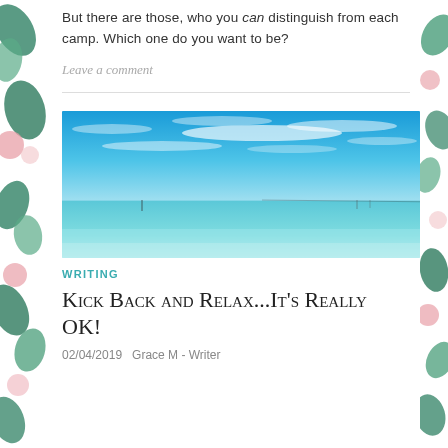But there are those, who you can distinguish from each camp. Which one do you want to be?
Leave a comment
[Figure (photo): Wide panoramic photograph of a tropical beach with bright blue sky, light clouds, turquoise shallow ocean water, and a distant horizon with faint dock or pier structures]
WRITING
Kick Back and Relax...It's Really OK!
02/04/2019   Grace M - Writer